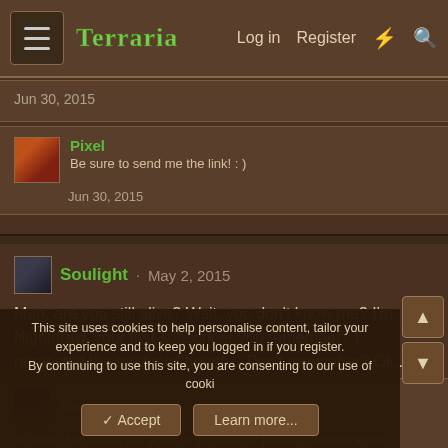Terraria | Log in | Register
Jun 30, 2015
Pixel
Be sure to send me the link! : )
Jun 30, 2015
Soulight · May 2, 2015
Man, are you still alive? Wait, you don't know me? I'm Nightdraw, your first subscriber you remember? I requested the medieval house... Don't remember? Ok..
Crows
I'm alive, but it took me ages to get back to playing Terraria again
This site uses cookies to help personalise content, tailor your experience and to keep you logged in if you register.
By continuing to use this site, you are consenting to our use of cookies.
Accept | Learn more...